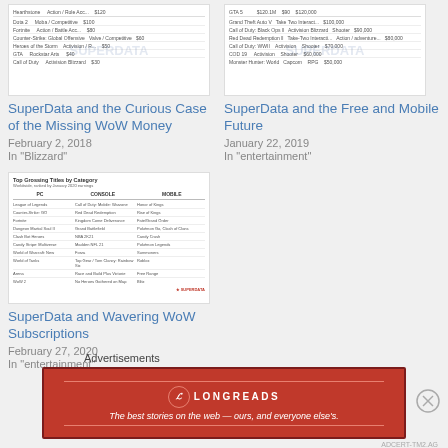[Figure (screenshot): Thumbnail image of a table/chart from SuperData about top grossing games with watermark text]
SuperData and the Curious Case of the Missing WoW Money
February 2, 2018
In "Blizzard"
[Figure (screenshot): Thumbnail image of a table from SuperData about free and mobile games with watermark text]
SuperData and the Free and Mobile Future
January 22, 2019
In "entertainment"
[Figure (screenshot): Thumbnail image of Top Grossing Titles by Category table from SuperData, Worldwide ranked by January 2020 earnings, with PC, Console, Mobile columns]
SuperData and Wavering WoW Subscriptions
February 27, 2020
In "entertainment"
Advertisements
[Figure (other): Longreads advertisement banner: red background with Longreads logo and tagline 'The best stories on the web — ours, and everyone else's.']